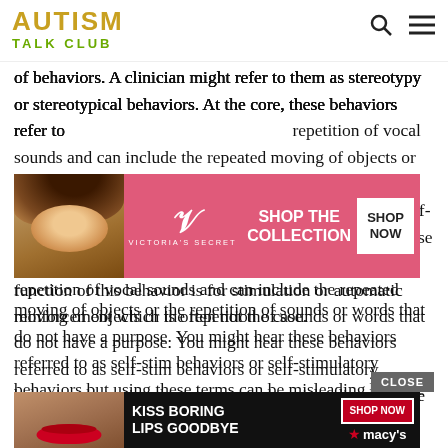AUTISM TALK CLUB
of behaviors. A clinician might refer to them as stereotypy or stereotypical behaviors. At the core, these behaviors refer to the repetition of vocal sounds and can include the repeated moving of objects or the repetition of sounds or words that do not have a purpose. You might hear these behaviors referred to as self-stim behaviors or self-stimulatory behaviors but using these terms can be misleading because they can imply that the function of this behavior is for stimulation or automatic reinforcement which is often not the case.
[Figure (photo): Victoria's Secret advertisement with model and 'SHOP THE COLLECTION / SHOP NOW' button on pink background]
Everyone engages in some form of repetitive behavior.
[Figure (photo): Macy's advertisement: 'KISS BORING LIPS GOODBYE' with red lips model and SHOP NOW button with Macy's star logo]
Typica... shaking...